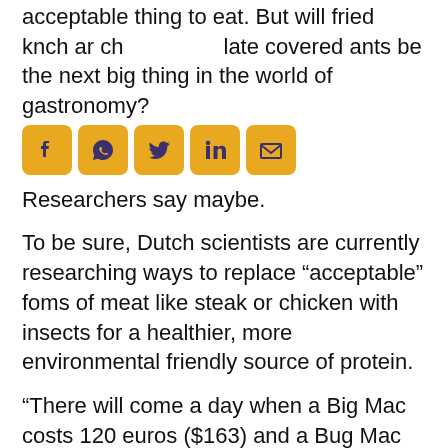acceptable thing to eat. But will fried knch ar chocolate covered ants be the next big thing in the world of gastronomy?
[Figure (other): Social media share buttons: Facebook, WhatsApp, Twitter, LinkedIn, Email]
Researchers say maybe.
To be sure, Dutch scientists are currently researching ways to replace “acceptable” foms of meat like steak or chicken with insects for a healthier, more environmental friendly source of protein.
“There will come a day when a Big Mac costs 120 euros ($163) and a Bug Mac 12 euros, when more people will eat insects than other